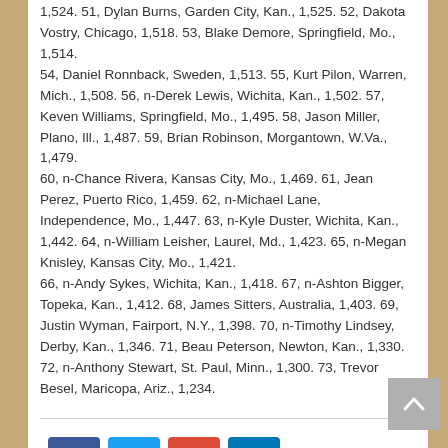1,524. 51, Dylan Burns, Garden City, Kan., 1,525. 52, Dakota Vostry, Chicago, 1,518. 53, Blake Demore, Springfield, Mo., 1,514. 54, Daniel Ronnback, Sweden, 1,513. 55, Kurt Pilon, Warren, Mich., 1,508. 56, n-Derek Lewis, Wichita, Kan., 1,502. 57, Keven Williams, Springfield, Mo., 1,495. 58, Jason Miller, Plano, Ill., 1,487. 59, Brian Robinson, Morgantown, W.Va., 1,479. 60, n-Chance Rivera, Kansas City, Mo., 1,469. 61, Jean Perez, Puerto Rico, 1,459. 62, n-Michael Lane, Independence, Mo., 1,447. 63, n-Kyle Duster, Wichita, Kan., 1,442. 64, n-William Leisher, Laurel, Md., 1,423. 65, n-Megan Knisley, Kansas City, Mo., 1,421. 66, n-Andy Sykes, Wichita, Kan., 1,418. 67, n-Ashton Bigger, Topeka, Kan., 1,412. 68, James Sitters, Australia, 1,403. 69, Justin Wyman, Fairport, N.Y., 1,398. 70, n-Timothy Lindsey, Derby, Kan., 1,346. 71, Beau Peterson, Newton, Kan., 1,330. 72, n-Anthony Stewart, St. Paul, Minn., 1,300. 73, Trevor Besel, Maricopa, Ariz., 1,234.